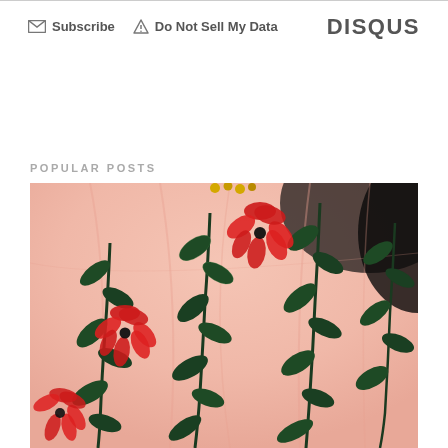Subscribe   Do Not Sell My Data   DISQUS
POPULAR POSTS
[Figure (photo): Close-up photo of a pink tulle gown with embroidered dark green leaf and stem appliqués and large red 3D fabric flowers (poppies) adorning the skirt. Gold bead accents visible at the top.]